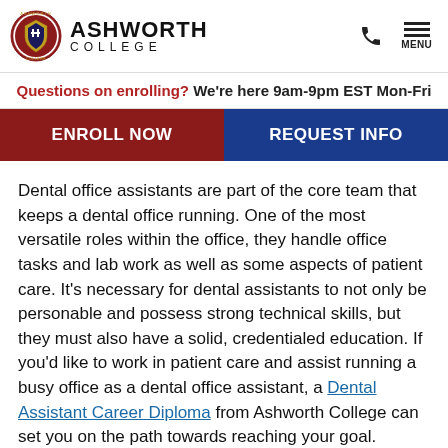ASHWORTH COLLEGE
Questions on enrolling? We're here 9am-9pm EST Mon-Fri
ENROLL NOW | REQUEST INFO
Dental office assistants are part of the core team that keeps a dental office running. One of the most versatile roles within the office, they handle office tasks and lab work as well as some aspects of patient care. It's necessary for dental assistants to not only be personable and possess strong technical skills, but they must also have a solid, credentialed education. If you'd like to work in patient care and assist running a busy office as a dental office assistant, a Dental Assistant Career Diploma from Ashworth College can set you on the path towards reaching your goal.